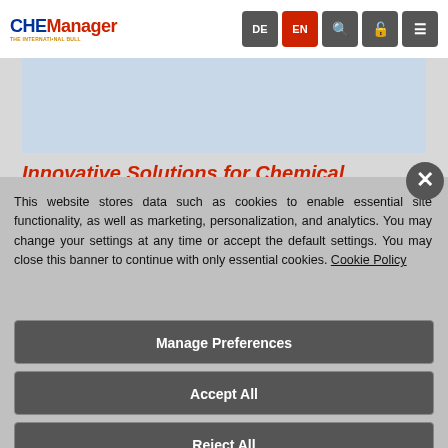[Figure (screenshot): CHEManager website header navigation bar with logo, DE/EN language buttons, search, lock, and menu icons]
[Figure (photo): Partially visible article header image with light blue background]
Innovative Solutions for Chemical...
This website stores data such as cookies to enable essential site functionality, as well as marketing, personalization, and analytics. You may change your settings at any time or accept the default settings. You may close this banner to continue with only essential cookies. Cookie Policy
Manage Preferences
Accept All
Reject All